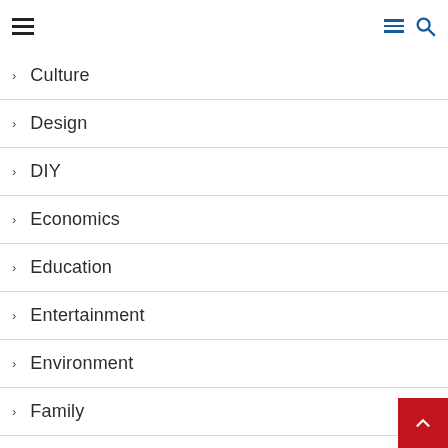Navigation header with hamburger menu and search icon
Culture
Design
DIY
Economics
Education
Entertainment
Environment
Family
Fashion